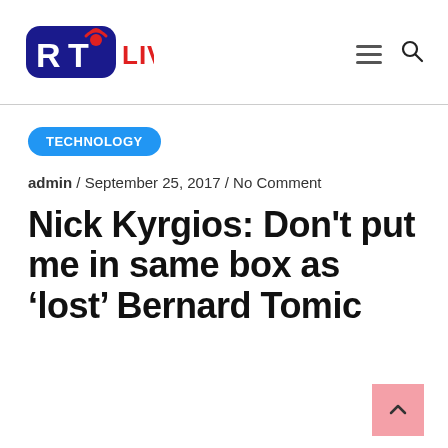[Figure (logo): RTI Live logo — blue rounded rectangle with white R T letters and red dot/wifi signal, followed by red 'LIVE' text]
TECHNOLOGY
admin / September 25, 2017 / No Comment
Nick Kyrgios: Don't put me in same box as 'lost' Bernard Tomic